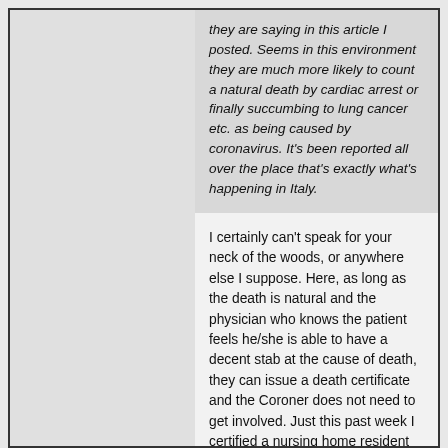they are saying in this article I posted. Seems in this environment they are much more likely to count a natural death by cardiac arrest or finally succumbing to lung cancer etc. as being caused by coronavirus. It's been reported all over the place that's exactly what's happening in Italy.
I certainly can't speak for your neck of the woods, or anywhere else I suppose. Here, as long as the death is natural and the physician who knows the patient feels he/she is able to have a decent stab at the cause of death, they can issue a death certificate and the Coroner does not need to get involved. Just this past week I certified a nursing home resident as having died of a "lower respiratory tract infection" (with a confirmed case of CV19 in the same home). In the current climate it is pretty likely she died of COVID-19 but in the absence of laboratory evidence it went unrecorded as such. Everything